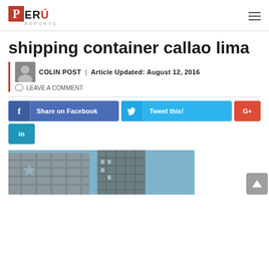PERU REPORTS
shipping container callao lima
COLIN POST | Article Updated: August 12, 2016
LEAVE A COMMENT
[Figure (screenshot): Social sharing buttons: Share on Facebook (blue), Tweet this! (light blue), G+ (red), LinkedIn (blue)]
[Figure (photo): Photo of shipping containers stacked in Callao Lima, viewed from below against a blue sky]